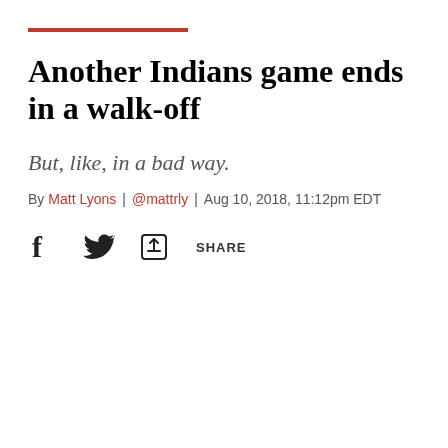Another Indians game ends in a walk-off
But, like, in a bad way.
By Matt Lyons | @mattrly | Aug 10, 2018, 11:12pm EDT
[Figure (other): Social share icons: Facebook (f), Twitter (bird), and a share/export icon with the text SHARE]